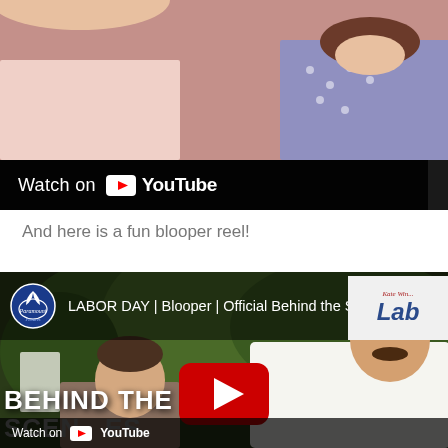[Figure (screenshot): YouTube video embed showing two people, with 'Watch on YouTube' bar at the bottom]
And here is a fun blooper reel!
[Figure (screenshot): YouTube video embed: LABOR DAY | Blooper | Official Behind the Scenes — showing a man with mustache and a boy, with Paramount Pictures logo and YouTube play button overlay. Text at bottom reads 'BEHIND THE SCENES'. Watch on YouTube bar at bottom.]